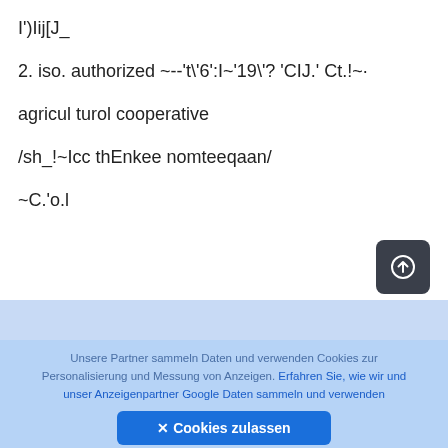I')Iij[J_
2. iso. authorized ~--'t\'6':I~'19\'? 'CIJ.' Ct.!~·
agricul turol cooperative
/sh_!~Icc thEnkee nomteeqaan/
~C.'o.l
Dokumen PUB
Unsere Partner sammeln Daten und verwenden Cookies zur Personalisierung und Messung von Anzeigen. Erfahren Sie, wie wir und unser Anzeigenpartner Google Daten sammeln und verwenden
✕ Cookies zulassen